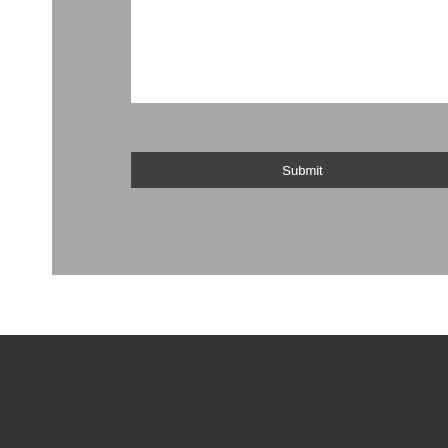[Figure (screenshot): A web form interface showing a gray panel with a white input text area at the top and a dark Submit button below it, on a white background.]
Submit
Support
Privacy Policy